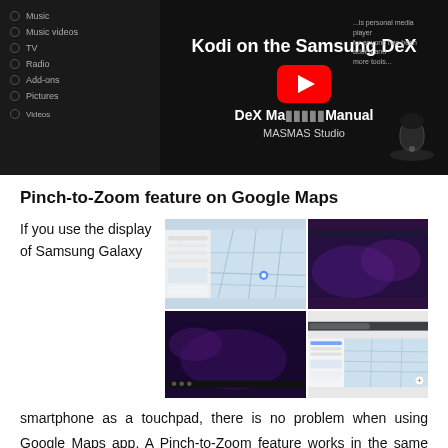[Figure (screenshot): YouTube video thumbnail showing 'Kodi on the Samsung DeX - DeX Manual' by MASMAS Studio, with a Kodi media interface on the left, a YouTube play button in the center, and a Samsung DeX dock device on the right.]
Pinch-to-Zoom feature on Google Maps
If you use the display of Samsung Galaxy
[Figure (screenshot): Screenshots showing Google Maps and a browser interface on Samsung DeX, illustrating pinch-to-zoom functionality.]
smartphone as a touchpad, there is no problem when using Google Maps app. A Pinch-to-Zoom feature works in the same way as you use the